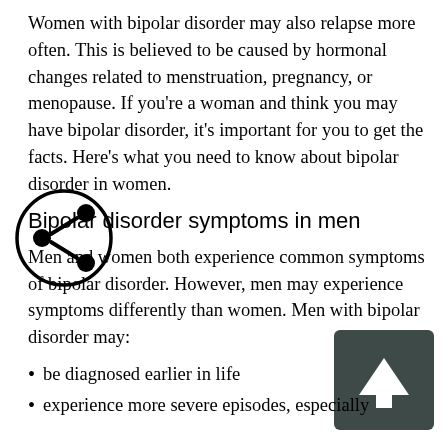Women with bipolar disorder may also relapse more often. This is believed to be caused by hormonal changes related to menstruation, pregnancy, or menopause. If you're a woman and think you may have bipolar disorder, it's important for you to get the facts. Here's what you need to know about bipolar disorder in women.
[Figure (illustration): Share icon: circle with three connected dots forming a share/network symbol]
Bipolar disorder symptoms in men
Men and women both experience common symptoms of bipolar disorder. However, men may experience symptoms differently than women. Men with bipolar disorder may:
be diagnosed earlier in life
experience more severe episodes, especially
[Figure (illustration): Up arrow button: dark gray/green rounded square with white upward arrow]